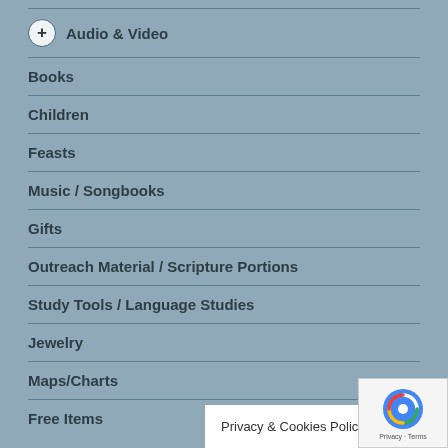Audio & Video
Books
Children
Feasts
Music / Songbooks
Gifts
Outreach Material / Scripture Portions
Study Tools / Language Studies
Jewelry
Maps/Charts
Free Items
Privacy & Cookies Policy